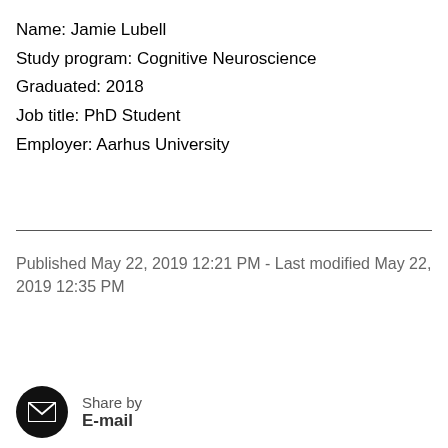Name: Jamie Lubell
Study program: Cognitive Neuroscience
Graduated: 2018
Job title: PhD Student
Employer: Aarhus University
Published May 22, 2019 12:21 PM - Last modified May 22, 2019 12:35 PM
Share by
E-mail